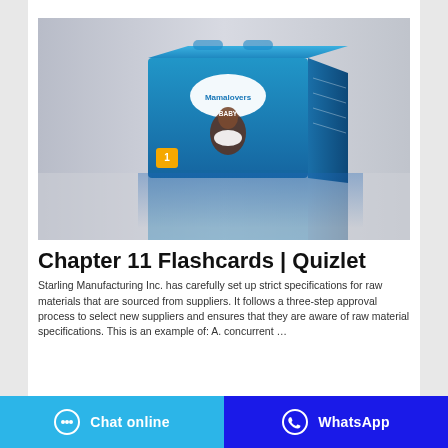[Figure (photo): Product photo of a blue baby diaper box (Mamalovers brand) with its reflection on a white surface, against a light grey background.]
Chapter 11 Flashcards | Quizlet
Starling Manufacturing Inc. has carefully set up strict specifications for raw materials that are sourced from suppliers. It follows a three-step approval process to select new suppliers and ensures that they are aware of raw material specifications. This is an example of: A. concurrent …